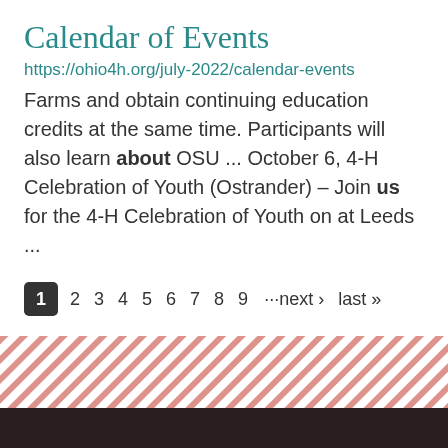Calendar of Events
https://ohio4h.org/july-2022/calendar-events
Farms and obtain continuing education credits at the same time. Participants will also learn about OSU ... October 6, 4-H Celebration of Youth (Ostrander) – Join us for the 4-H Celebration of Youth on at Leeds ...
1 2 3 4 5 6 7 8 9 ···next › last »